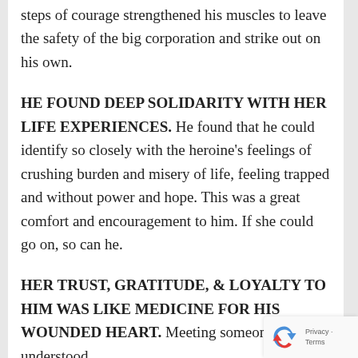steps of courage strengthened his muscles to leave the safety of the big corporation and strike out on his own.
HE FOUND DEEP SOLIDARITY WITH HER LIFE EXPERIENCES. He found that he could identify so closely with the heroine's feelings of crushing burden and misery of life, feeling trapped and without power and hope. This was a great comfort and encouragement to him. If she could go on, so can he.
HER TRUST, GRATITUDE, & LOYALTY TO HIM WAS LIKE MEDICINE FOR HIS WOUNDED HEART. Meeting someone who understood
[Figure (other): reCAPTCHA widget overlay showing the reCAPTCHA logo (blue/red arrow graphic) and Privacy · Terms text]